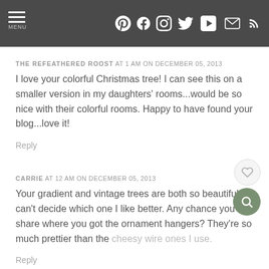MENU [social icons: Pinterest, Facebook, Instagram, Twitter, YouTube, Email, RSS]
THE REFEATHERED ROOST AT 1 AM ON DECEMBER 05, 2013
I love your colorful Christmas tree! I can see this on a smaller version in my daughters' rooms...would be so nice with their colorful rooms. Happy to have found your blog...love it!
Reply
CARRIE AT 12 AM ON DECEMBER 05, 2013
Your gradient and vintage trees are both so beautiful, I can't decide which one I like better. Any chance you can share where you got the ornament hangers? They're so much prettier than the cheesy wire ones I use.
Reply